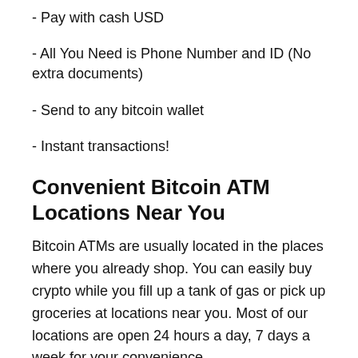- Pay with cash USD
- All You Need is Phone Number and ID (No extra documents)
- Send to any bitcoin wallet
- Instant transactions!
Convenient Bitcoin ATM Locations Near You
Bitcoin ATMs are usually located in the places where you already shop. You can easily buy crypto while you fill up a tank of gas or pick up groceries at locations near you. Most of our locations are open 24 hours a day, 7 days a week for your convenience.
Tablet Locations
Tablet locations are much like our Bitcoin ATM